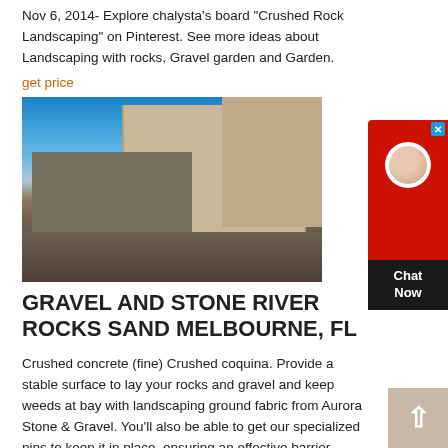Nov 6, 2014- Explore chalysta's board "Crushed Rock Landscaping" on Pinterest. See more ideas about Landscaping with rocks, Gravel garden and Garden.
get price
[Figure (photo): A quarry or rock crushing facility with large concrete walls, industrial machinery, and piles of crushed rock/gravel under a blue sky.]
GRAVEL AND STONE RIVER ROCKS SAND MELBOURNE, FL
Crushed concrete (fine) Crushed coquina. Provide a stable surface to lay your rocks and gravel and keep weeds at bay with landscaping ground fabric from Aurora Stone & Gravel. You'll also be able to get our specialized pins to keep it in place, ensuring an effective barrier between the dirt and your gravel.
[Figure (screenshot): Chat Now widget button in red with a person icon and dark bottom section saying Chat Now]
[Figure (other): Back to top button - beige/tan square with white upward arrow]